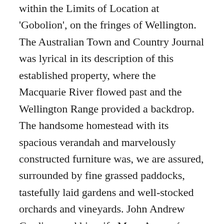within the Limits of Location at 'Gobolion', on the fringes of Wellington. The Australian Town and Country Journal was lyrical in its description of this established property, where the Macquarie River flowed past and the Wellington Range provided a backdrop. The handsome homestead with its spacious verandah and marvelously constructed furniture was, we are assured, surrounded by fine grassed paddocks, tastefully laid gardens and well-stocked orchards and vineyards. John Andrew Gardiner and his wife Mary Anne née Bloodsworth with their bevy of daughters and couple of sons, were gentry. He was referred to as Lord or Squire of Gobolion, sometimes even, Lord of Wellington.
As for the Aborigines, they were no threat,